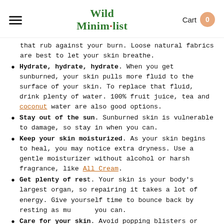Wild Minimalist — Cart 0
that rub against your burn. Loose natural fabrics are best to let your skin breathe.
Hydrate, hydrate, hydrate. When you get sunburned, your skin pulls more fluid to the surface of your skin. To replace that fluid, drink plenty of water. 100% fruit juice, tea and coconut water are also good options.
Stay out of the sun. Sunburned skin is vulnerable to damage, so stay in when you can.
Keep your skin moisturized. As your skin begins to heal, you may notice extra dryness. Use a gentle moisturizer without alcohol or harsh fragrance, like All Cream.
Get plenty of rest. Your skin is your body's largest organ, so repairing it takes a lot of energy. Give yourself time to bounce back by resting as much as you can.
Care for your skin. Avoid popping blisters or peeling burned skin. Instead, give yourself some extra TLC